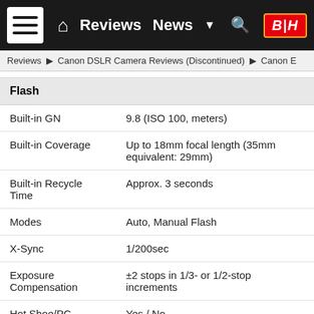Reviews | News | B&H
Reviews ▶ Canon DSLR Camera Reviews (Discontinued) ▶ Canon E
Flash
|  |  |
| --- | --- |
| Built-in GN | 9.8 (ISO 100, meters) |
| Built-in Coverage | Up to 18mm focal length (35mm equivalent: 29mm) |
| Built-in Recycle Time | Approx. 3 seconds |
| Modes | Auto, Manual Flash |
| X-Sync | 1/200sec |
| Exposure Compensation | ±2 stops in 1/3- or 1/2-stop increments |
| Hot Shoe/PC Terminal | Yes / No |
| External Flash Comp | E-TTL II with EX series Speedlites, wireless multi-flash support |
| External Flash | Via camera menu |